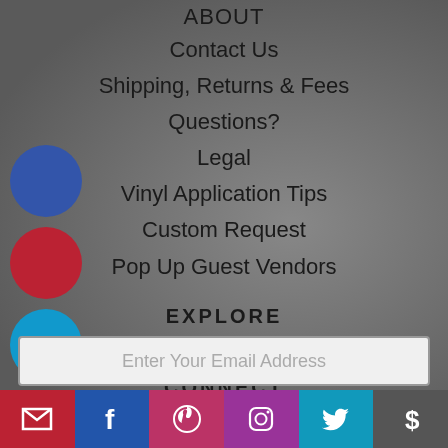ABOUT
Contact Us
Shipping, Returns & Fees
Questions?
Legal
Vinyl Application Tips
Custom Request
Pop Up Guest Vendors
EXPLORE
CONNECT
Enter Your Email Address
[Figure (infographic): Social media icon buttons: email (red), Facebook (blue), Pinterest (pink), Instagram (purple), Twitter (cyan), Dollar/payment (gray)]